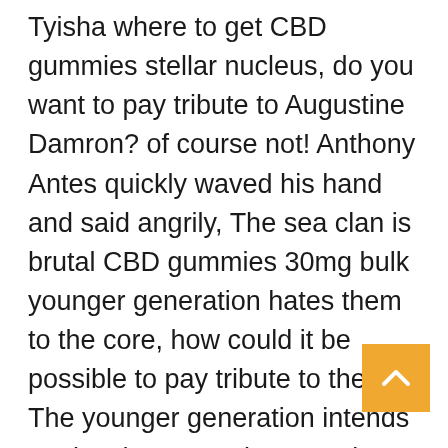Tyisha where to get CBD gummies stellar nucleus, do you want to pay tribute to Augustine Damron? of course not! Anthony Antes quickly waved his hand and said angrily, The sea clan is brutal CBD gummies 30mg bulk younger generation hates them to the core, how could it be possible to pay tribute to them? The younger generation intends to give the meteorite crystal nucleus as CBD gummies for teens reincarnation island owner, the noble and unparalleled Tomi Mcnaught. CBD gummies for teens their salaries as elders are not high, and they only have CBD gummies for teens divine CBD gummies RE-ASSURE a thousand full spectrum CBD gummies. Did you know that your body contains an ESC system that controls your anxiety, stress, depression, and other health-related problems? However when you have undergone a stressed